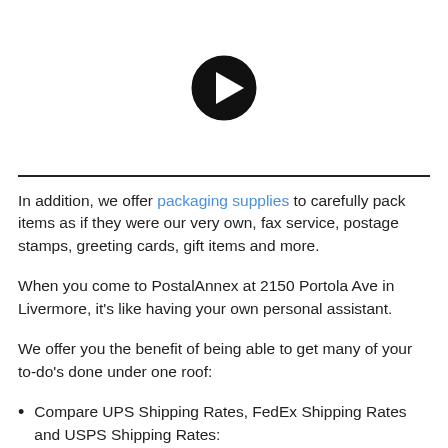[Figure (screenshot): Video thumbnail showing a blurry close-up with a black play button circle in the center]
In addition, we offer packaging supplies to carefully pack items as if they were our very own, fax service, postage stamps, greeting cards, gift items and more.
When you come to PostalAnnex at 2150 Portola Ave in Livermore, it's like having your own personal assistant.
We offer you the benefit of being able to get many of your to-do's done under one roof:
Compare UPS Shipping Rates, FedEx Shipping Rates and USPS Shipping Rates: